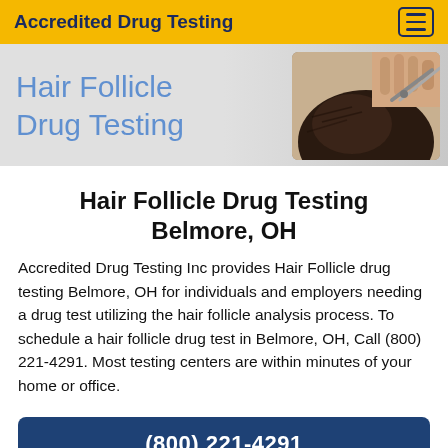Accredited Drug Testing
[Figure (screenshot): Banner image showing hair follicle drug testing with blue text 'Hair Follicle Drug Testing' on grey background and a photo of scissors cutting hair on right side]
Hair Follicle Drug Testing Belmore, OH
Accredited Drug Testing Inc provides Hair Follicle drug testing Belmore, OH for individuals and employers needing a drug test utilizing the hair follicle analysis process. To schedule a hair follicle drug test in Belmore, OH, Call (800) 221-4291. Most testing centers are within minutes of your home or office.
(800) 221-4291